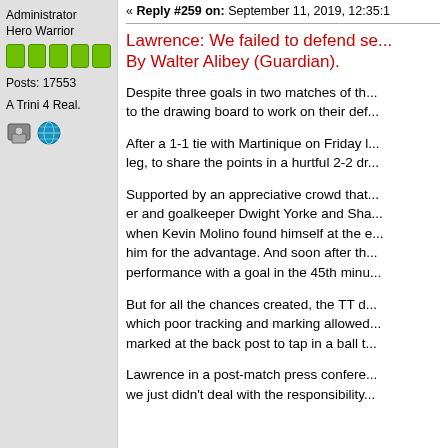Administrator
Hero Warrior
Posts: 17553
A Trini 4 Real.
« Reply #259 on: September 11, 2019, 12:35:1
Lawrence: We failed to defend se... By Walter Alibey (Guardian).
Despite three goals in two matches of th... to the drawing board to work on their def...
After a 1-1 tie with Martinique on Friday l... leg, to share the points in a hurtful 2-2 dr...
Supported by an appreciative crowd that... er and goalkeeper Dwight Yorke and Sha... when Kevin Molino found himself at the e... him for the advantage. And soon after th... performance with a goal in the 45th minu...
But for all the chances created, the TT d... which poor tracking and marking allowed... marked at the back post to tap in a ball t...
Lawrence in a post-match press confere... we just didn't deal with the responsibility...